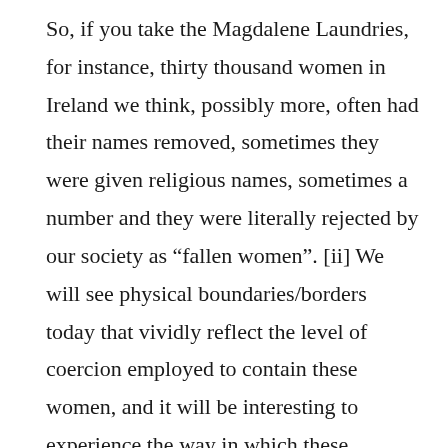So, if you take the Magdalene Laundries, for instance, thirty thousand women in Ireland we think, possibly more, often had their names removed, sometimes they were given religious names, sometimes a number and they were literally rejected by our society as “fallen women”. [ii] We will see physical boundaries/borders today that vividly reflect the level of coercion employed to contain these women, and it will be interesting to experience the way in which these institutions are physically set up. They are all up very high on a hill so they are away from the city, but also you will see the kind of imposing structures and high walls erected around them.